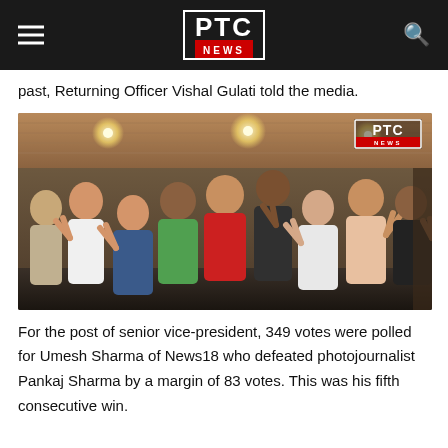PTC NEWS
past, Returning Officer Vishal Gulati told the media.
[Figure (photo): Group photo of approximately 10 people making victory/peace signs with their hands, standing indoors under warm lighting with a wooden ceiling. A PTC News watermark is visible in the top-right corner of the photo.]
For the post of senior vice-president, 349 votes were polled for Umesh Sharma of News18 who defeated photojournalist Pankaj Sharma by a margin of 83 votes. This was his fifth consecutive win.